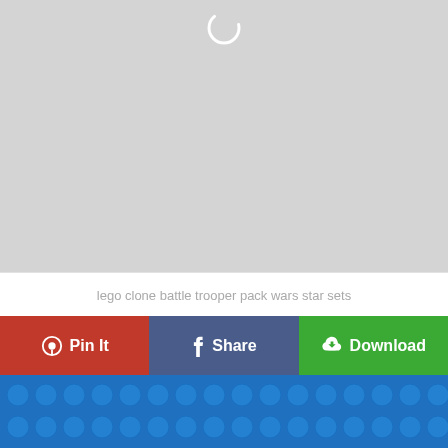[Figure (photo): Loading placeholder — light gray background with a circular loading spinner icon at the top center]
lego clone battle trooper pack wars star sets
[Figure (infographic): Three action buttons in a row: red 'Pin It' button with Pinterest icon, blue/slate 'Share' button with Facebook icon, green 'Download' button with download cloud icon]
[Figure (photo): Close-up photo of a blue LEGO baseplate showing rows of blue circular studs]